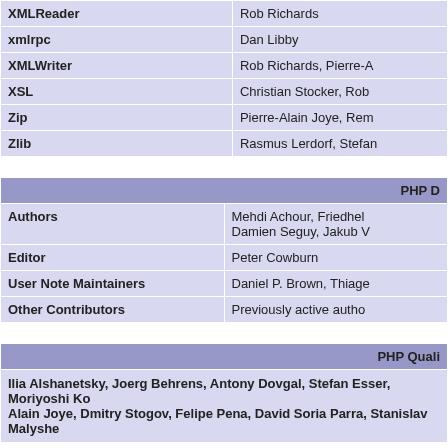| Extension | Authors |
| --- | --- |
| XMLReader | Rob Richards |
| xmlrpc | Dan Libby |
| XMLWriter | Rob Richards, Pierre-A… |
| XSL | Christian Stocker, Rob… |
| Zip | Pierre-Alain Joye, Rem… |
| Zlib | Rasmus Lerdorf, Stefan… |
| PHP D… |
| --- |
| Authors | Mehdi Achour, Friedhel… Damien Seguy, Jakub V… |
| Editor | Peter Cowburn |
| User Note Maintainers | Daniel P. Brown, Thiage… |
| Other Contributors | Previously active autho… |
| PHP Quali… |
| --- |
| Ilia Alshanetsky, Joerg Behrens, Antony Dovgal, Stefan Esser, Moriyoshi Ko… Alain Joye, Dmitry Stogov, Felipe Pena, David Soria Parra, Stanislav Malyshe… |  |
| Websites an… |
| --- |
| PHP Websites Team | Rasmus Lerdorf, Hanne… Peter Cowburn, Adam R… |
| Event Maintainers | Damien Seguy, Daniel… |